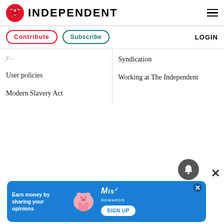INDEPENDENT
Contribute
Subscribe
LOGIN
User policies
Modern Slavery Act
Syndication
Working at The Independent
[Figure (other): Advertisement banner: 'Earn money by sharing your opinions' with piggy bank graphic and MiSurvey Rewards sign up button on blue background]